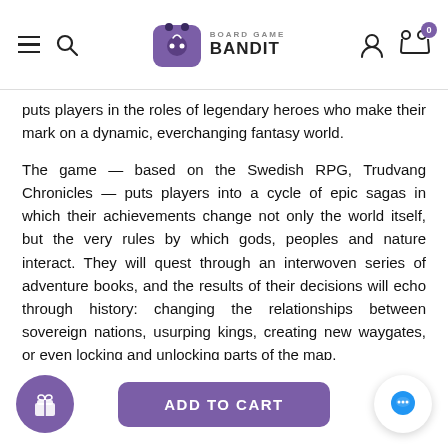Board Game Bandit — navigation header with hamburger menu, search, logo, user icon, and cart (0)
puts players in the roles of legendary heroes who make their mark on a dynamic, everchanging fantasy world.
The game — based on the Swedish RPG, Trudvang Chronicles — puts players into a cycle of epic sagas in which their achievements change not only the world itself, but the very rules by which gods, peoples and nature interact. They will quest through an interwoven series of adventure books, and the results of their decisions will echo through history: changing the relationships between sovereign nations, usurping kings, creating new waygates, or even locking and unlocking parts of the map.
Change in Trudvang Legends manifests physically as parts of the board actually change, making the actions of previous hero generations impact future sagas. However, the changes are only as permanent as long as history remembers them, which makes the game endlessly replayable, and even playing the same adventure book repeatedly will hav...letely different feel because the world itself has cha: